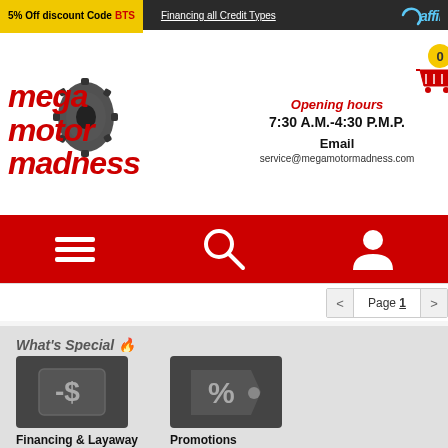5% Off discount Code BTS | Financing all Credit Types | affirm
[Figure (logo): Mega Motor Madness logo with gear/engine graphic in black and red italic text]
Opening hours
7:30 A.M.-4:30 P.M.P.
Email
service@megamotormadness.com
[Figure (infographic): Red navigation bar with hamburger menu icon, search icon, and user profile icon]
Page 1
What's Special 🔥
[Figure (infographic): Dark grey square icon with dollar sign minus symbol representing Financing & Layaway]
Financing & Layaway
[Figure (infographic): Dark grey tag/label icon with percent sign representing Promotions]
Promotions
[Figure (infographic): Red footer bar with headset/support icon on left and envelope/email icon on right, divided by vertical line]